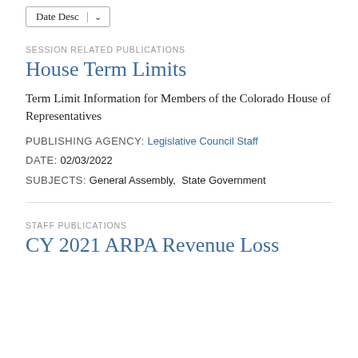Date Desc ∨
SESSION RELATED PUBLICATIONS
House Term Limits
Term Limit Information for Members of the Colorado House of Representatives
PUBLISHING AGENCY: Legislative Council Staff
DATE: 02/03/2022
SUBJECTS: General Assembly,  State Government
STAFF PUBLICATIONS
CY 2021 ARPA Revenue Loss